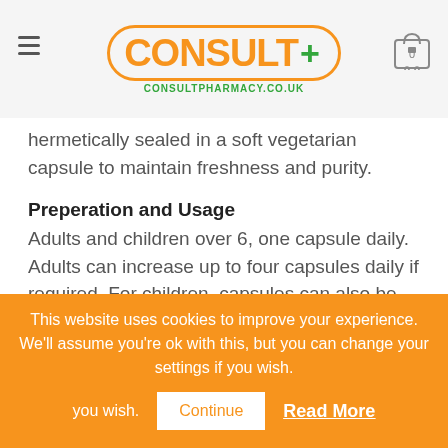CONSULT+ CONSULTPHARMACY.CO.UK
hermetically sealed in a soft vegetarian capsule to maintain freshness and purity.
Preperation and Usage
Adults and children over 6, one capsule daily. Adults can increase up to four capsules daily if required. For children, capsules can also be pierced and the contents taken orally or rubbed onto the skin. Do not exceed unless advised by a
Safety Warnings
This website uses cookies to improve your experience. We'll assume you're ok with this, but you can change your settings if you wish. Continue  Read More